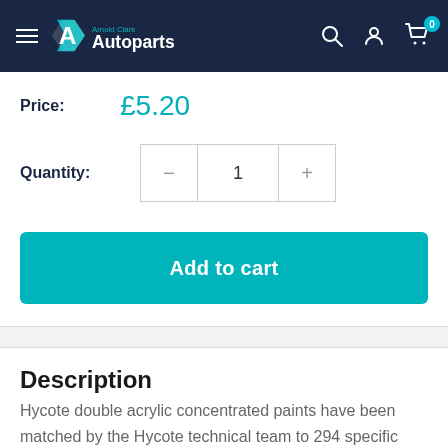Arnold Clark Autoparts — navigation header
Price: £5.20
Quantity: 1
Add to cart
Description
Hycote double acrylic concentrated paints have been matched by the Hycote technical team to 294 specific